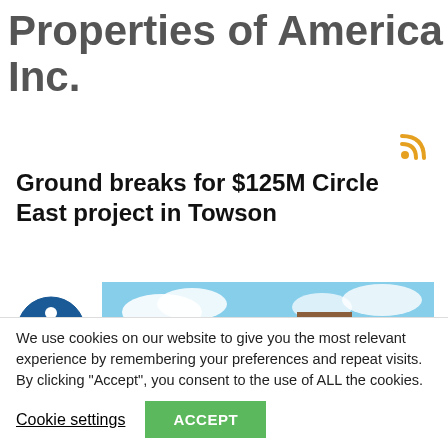Properties of America Inc.
[Figure (other): RSS feed icon in orange/yellow]
Ground breaks for $125M Circle East project in Towson
[Figure (photo): Architectural rendering of the Circle East / Avalon mixed-use building in Towson — a multi-story modern development with brick towers and retail at street level]
We use cookies on our website to give you the most relevant experience by remembering your preferences and repeat visits. By clicking “Accept”, you consent to the use of ALL the cookies.
Cookie settings
ACCEPT